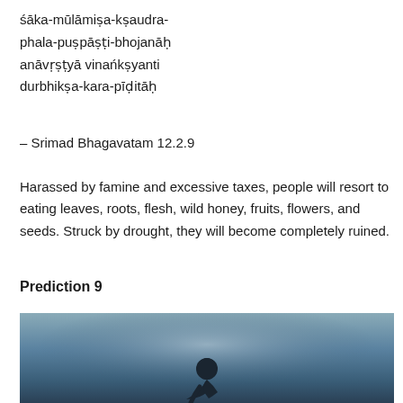śāka-mūlāmiṣa-kṣaudra-phala-puṣpāṣṭi-bhojanāḥ anāvṛṣṭyā vinańkṣyanti durbhikṣa-kara-pīḍitāḥ
– Srimad Bhagavatam 12.2.9
Harassed by famine and excessive taxes, people will resort to eating leaves, roots, flesh, wild honey, fruits, flowers, and seeds. Struck by drought, they will become completely ruined.
Prediction 9
[Figure (photo): Dark moody photograph showing a silhouette of a person bent over against a blurred blue-grey background, suggesting distress or suffering.]